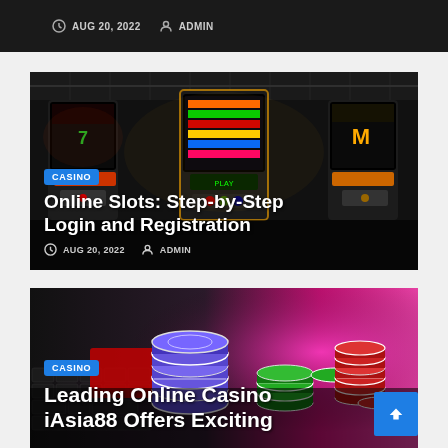AUG 20, 2022  ADMIN
[Figure (photo): Dark interior of a casino with slot machines lit up with colorful LED displays]
CASINO
Online Slots: Step-by-Step Login and Registration
AUG 20, 2022  ADMIN
[Figure (photo): Stacks of colorful casino chips (blue, green, red) on a laptop keyboard with pink background]
CASINO
Leading Online Casino iAsia88 Offers Exciting